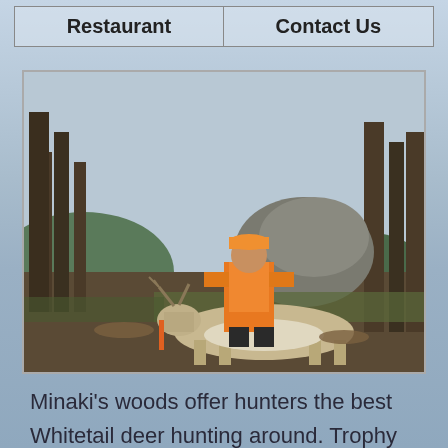Restaurant | Contact Us
[Figure (photo): Hunter in orange safety vest and cap kneeling behind a harvested whitetail deer in a wooded area near a lake or waterway. Trees and rocky hillside visible in background.]
Minaki's woods offer hunters the best Whitetail deer hunting around. Trophy quality is what you can expect when hunting around Paradise Cove. The